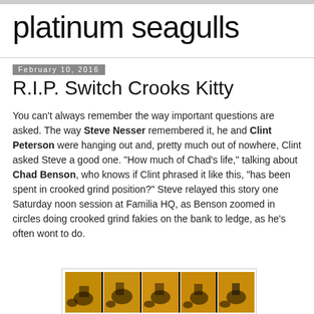platinum seagulls
February 10, 2016
R.I.P. Switch Crooks Kitty
You can't always remember the way important questions are asked. The way Steve Nesser remembered it, he and Clint Peterson were hanging out and, pretty much out of nowhere, Clint asked Steve a good one. "How much of Chad's life," talking about Chad Benson, who knows if Clint phrased it like this, "has been spent in crooked grind position?" Steve relayed this story one Saturday noon session at Familia HQ, as Benson zoomed in circles doing crooked grind fakies on the bank to ledge, as he's often wont to do.
[Figure (photo): A strip of five skateboarding photos with a golden/orange warm-toned color, showing a skater performing tricks against a bright background.]